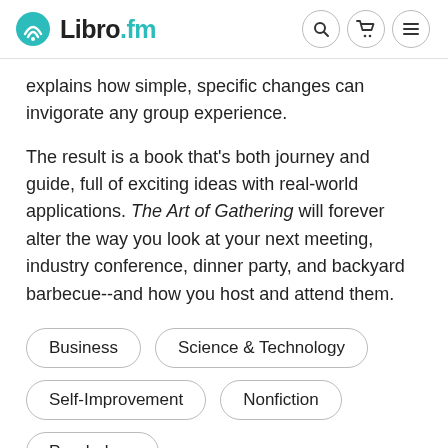Libro.fm
explains how simple, specific changes can invigorate any group experience.
The result is a book that's both journey and guide, full of exciting ideas with real-world applications. The Art of Gathering will forever alter the way you look at your next meeting, industry conference, dinner party, and backyard barbecue--and how you host and attend them.
Business
Science & Technology
Self-Improvement
Nonfiction
Psychology